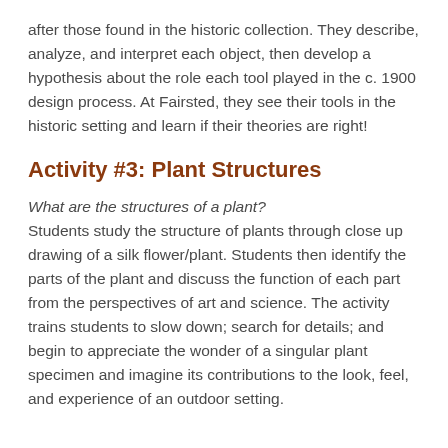after those found in the historic collection. They describe, analyze, and interpret each object, then develop a hypothesis about the role each tool played in the c. 1900 design process. At Fairsted, they see their tools in the historic setting and learn if their theories are right!
Activity #3: Plant Structures
What are the structures of a plant?
Students study the structure of plants through close up drawing of a silk flower/plant. Students then identify the parts of the plant and discuss the function of each part from the perspectives of art and science. The activity trains students to slow down; search for details; and begin to appreciate the wonder of a singular plant specimen and imagine its contributions to the look, feel, and experience of an outdoor setting.